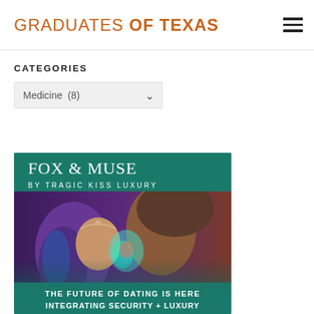GRADUATES OF TEXAS
CATEGORIES
Medicine (8)
[Figure (illustration): Advertisement image for Fox & Muse by Tragic Kiss Luxury showing two people about to kiss with text overlay reading THE FUTURE OF DATING IS HERE / INTEGRATING SECURITY + LUXURY]